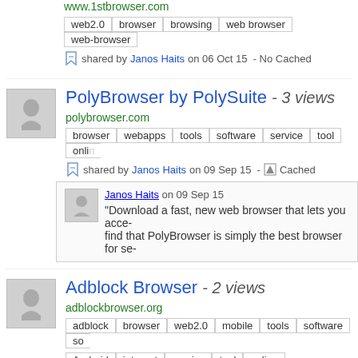www.1stbrowser.com
web2.0 | browser | browsing | web browser | web-browser
shared by Janos Haits on 06 Oct 15 - No Cached
PolyBrowser by PolySuite - 3 views
polybrowser.com
browser | webapps | tools | software | service | tool | online
shared by Janos Haits on 09 Sep 15 - Cached
Janos Haits on 09 Sep 15 "Download a fast, new web browser that lets you acce... find that PolyBrowser is simply the best browser for se...
Adblock Browser - 2 views
adblockbrowser.org
adblock | browser | web2.0 | mobile | tools | software | so...
Android | internet | service | tool | online
shared by Janos Haits on 09 Sep 15 - No Cached
Janos Haits on 09 Sep 15